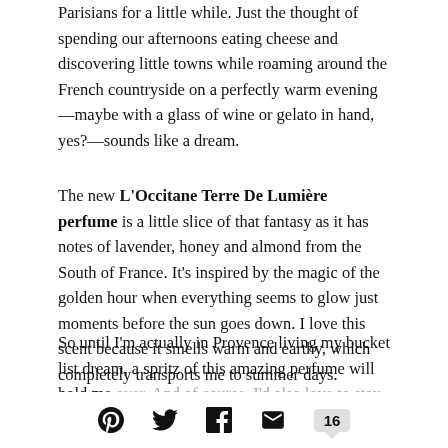Parisians for a little while. Just the thought of spending our afternoons eating cheese and discovering little towns while roaming around the French countryside on a perfectly warm evening—maybe with a glass of wine or gelato in hand, yes?—sounds like a dream.
The new L'Occitane Terre De Lumière perfume is a little slice of that fantasy as it has notes of lavender, honey and almond from the South of France. It's inspired by the magic of the golden hour when everything seems to glow just moments before the sun goes down. I love this scent because it smells warm and earthy, which completely transports me to summer days.
So until I'm actually in Provence living my bucket list dream, a spritz of this amazing perfume will hold me over. And of course, I'd also love to stay in the south of France...
Social share icons: Pinterest, Twitter, Facebook, Email, 16 comments